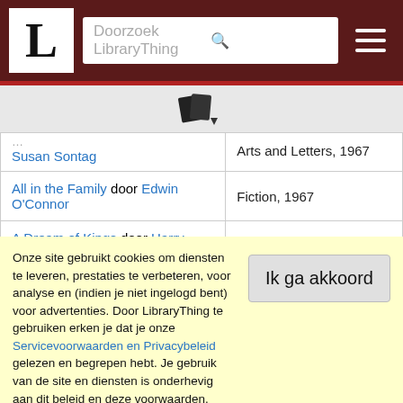LibraryThing — Doorzoek LibraryThing
[Figure (icon): LibraryThing book icon with dropdown arrow]
| Boek | Categorie, Jaar |
| --- | --- |
| [...] door Susan Sontag | Arts and Letters, 1967 |
| All in the Family door Edwin O'Connor | Fiction, 1967 |
| A Dream of Kings door Harry Mark Petrakis | Fiction, 1967 |
| The Embezzler door Louis Auchincloss | Fiction, 1967 |
Onze site gebruikt cookies om diensten te leveren, prestaties te verbeteren, voor analyse en (indien je niet ingelogd bent) voor advertenties. Door LibraryThing te gebruiken erken je dat je onze Servicevoorwaarden en Privacybeleid gelezen en begrepen hebt. Je gebruik van de site en diensten is onderhevig aan dit beleid en deze voorwaarden.